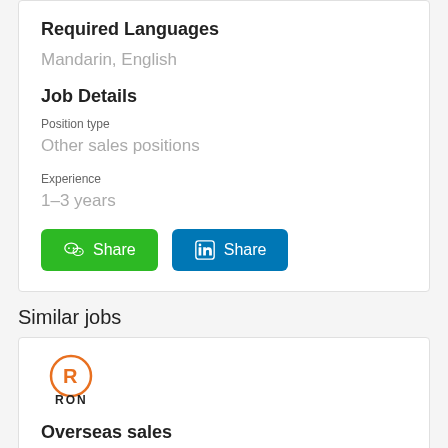Required Languages
Mandarin, English
Job Details
Position type
Other sales positions
Experience
1–3 years
[Figure (other): WeChat Share button (green) and LinkedIn Share button (blue)]
Similar jobs
[Figure (logo): RON company logo - orange circle with letter R inside, RON text below]
Overseas sales
RON
45k - 50K RMB per month
Full-time | Overseas